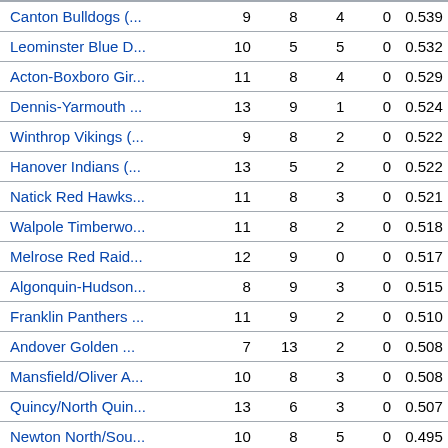| Team | GP | W | L | T | Pct |
| --- | --- | --- | --- | --- | --- |
| Canton Bulldogs (... | 9 | 8 | 4 | 0 | 0.539 |
| Leominster Blue D... | 10 | 5 | 5 | 0 | 0.532 |
| Acton-Boxboro Gir... | 11 | 8 | 4 | 0 | 0.529 |
| Dennis-Yarmouth ... | 13 | 9 | 1 | 0 | 0.524 |
| Winthrop Vikings (... | 9 | 8 | 2 | 0 | 0.522 |
| Hanover Indians (... | 13 | 5 | 2 | 0 | 0.522 |
| Natick Red Hawks... | 11 | 8 | 3 | 0 | 0.521 |
| Walpole Timberwo... | 11 | 8 | 2 | 0 | 0.518 |
| Melrose Red Raid... | 12 | 9 | 0 | 0 | 0.517 |
| Algonquin-Hudson... | 8 | 9 | 3 | 0 | 0.515 |
| Franklin Panthers ... | 11 | 9 | 2 | 0 | 0.510 |
| Andover Golden ... | 7 | 13 | 2 | 0 | 0.508 |
| Mansfield/Oliver A... | 10 | 8 | 3 | 0 | 0.508 |
| Quincy/North Quin... | 13 | 6 | 3 | 0 | 0.507 |
| Newton North/Sou... | 10 | 8 | 5 | 0 | 0.495 |